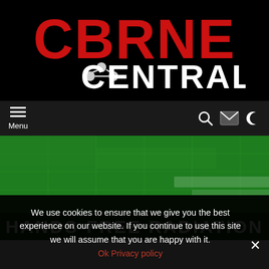[Figure (logo): CBRNE Central logo: 'CBRNE' in large red bold letters above 'CENTRAL' in white bold letters, with a molecular/network icon (three circles connected by lines) between the two words, all on a black background]
Menu [navigation bar with hamburger menu, search icon, mail icon, and dark mode toggle]
[Figure (photo): Green hero banner with grid/circuit board overlay pattern. White rectangular highlight elements on the right side. Dark overlay bar at the bottom with text 'HANDS-FREE RADIATION' in large white uppercase bold letters.]
We use cookies to ensure that we give you the best experience on our website. If you continue to use this site we will assume that you are happy with it.
Ok Privacy policy